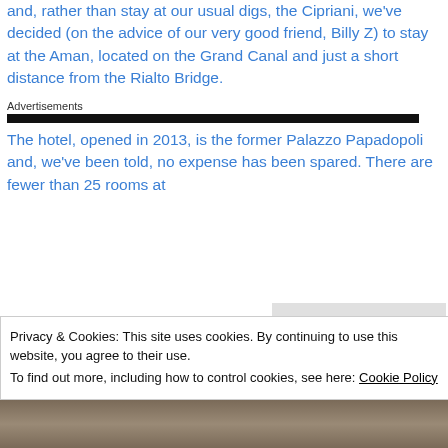and, rather than stay at our usual digs, the Cipriani, we've decided (on the advice of our very good friend, Billy Z) to stay at the Aman, located on the Grand Canal and just a short distance from the Rialto Bridge.
Advertisements
The hotel, opened in 2013, is the former Palazzo Papadopoli and, we've been told, no expense has been spared. There are fewer than 25 rooms at
Privacy & Cookies: This site uses cookies. By continuing to use this website, you agree to their use.
To find out more, including how to control cookies, see here: Cookie Policy
Close and accept
[Figure (photo): Bottom portion of a photograph showing architectural/interior elements, partially visible]